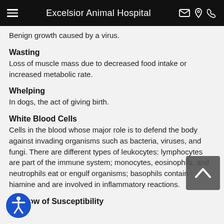Excelsior Animal Hospital
Benign growth caused by a virus.
Wasting
Loss of muscle mass due to decreased food intake or increased metabolic rate.
Whelping
In dogs, the act of giving birth.
White Blood Cells
Cells in the blood whose major role is to defend the body against invading organisms such as bacteria, viruses, and fungi. There are different types of leukocytes: lymphocytes are part of the immune system; monocytes, eosinophils, and neutrophils eat or engulf organisms; basophils contain hiamine and are involved in inflammatory reactions.
Window of Susceptibility